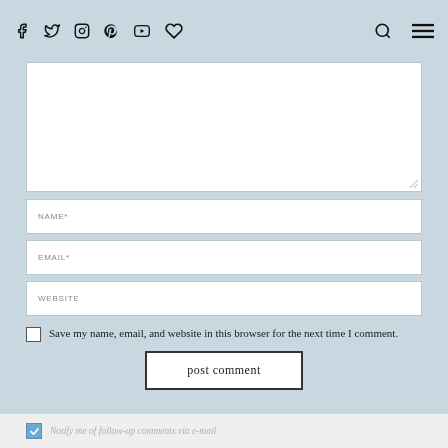Social media icons, search icon, menu icon
[Figure (screenshot): Comment form with textarea, name, email, website fields, checkbox, post comment button, and notify me checkbox at bottom]
Save my name, email, and website in this browser for the next time I comment.
post comment
Notify me of follow-up comments via e-mail